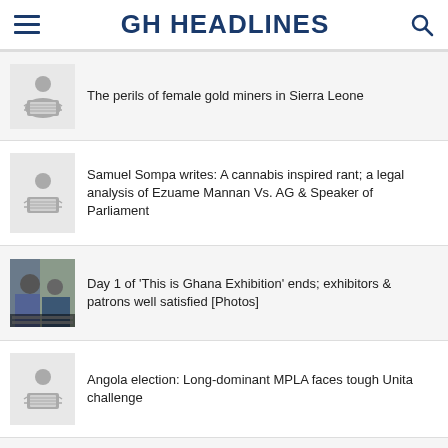GH HEADLINES
The perils of female gold miners in Sierra Leone
Samuel Sompa writes: A cannabis inspired rant; a legal analysis of Ezuame Mannan Vs. AG & Speaker of Parliament
Day 1 of 'This is Ghana Exhibition' ends; exhibitors & patrons well satisfied [Photos]
Angola election: Long-dominant MPLA faces tough Unita challenge
ICC in Sudan: 'The law can't be fire and forget, it's not a missile'